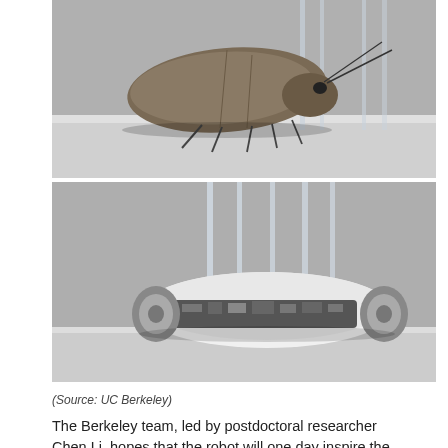[Figure (photo): Two black-and-white photographs stacked vertically. Top: a cockroach walking through a transparent vertical-rod apparatus. Bottom: a cockroach-inspired robot with a flat oval shell passing through the same type of vertical-rod apparatus.]
(Source: UC Berkeley)
The Berkeley team, led by postdoctoral researcher Chen Li, hopes that the robot will one day inspire the design of future terrestrial